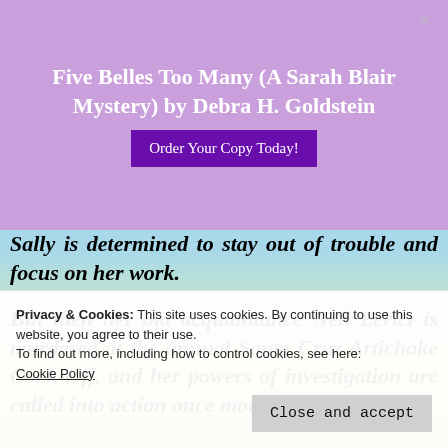Five Belles Too Many (A Sarah Blair Mystery) by Debra H. Goldstein
Order Your Copy Today!
Sally is determined to stay out of trouble and focus on her work.
But then her old acquaintance Neil Lerici is murdered at the annual Santa Cruz Artichoke Cook-Off, and her powers of investigation are called into action once more. Could Neil have b... t... n... c...
Privacy & Cookies: This site uses cookies. By continuing to use this website, you agree to their use.
To find out more, including how to control cookies, see here:
Cookie Policy
Close and accept